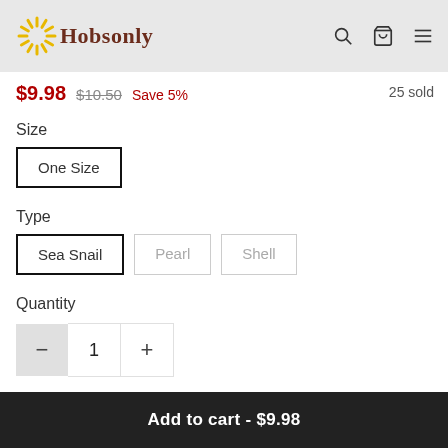Hobsonly — navigation header with search, cart, and menu icons
$9.98 $10.50 Save 5% 25 sold
Size
One Size
Type
Sea Snail
Pearl
Shell
Quantity
1
Add to cart - $9.98